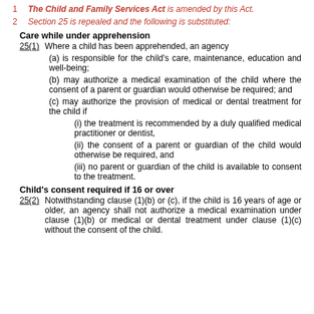1  The Child and Family Services Act is amended by this Act.
2  Section 25 is repealed and the following is substituted:
Care while under apprehension
25(1)  Where a child has been apprehended, an agency
(a) is responsible for the child's care, maintenance, education and well-being;
(b) may authorize a medical examination of the child where the consent of a parent or guardian would otherwise be required; and
(c) may authorize the provision of medical or dental treatment for the child if
(i) the treatment is recommended by a duly qualified medical practitioner or dentist,
(ii) the consent of a parent or guardian of the child would otherwise be required, and
(iii) no parent or guardian of the child is available to consent to the treatment.
Child's consent required if 16 or over
25(2)  Notwithstanding clause (1)(b) or (c), if the child is 16 years of age or older, an agency shall not authorize a medical examination under clause (1)(b) or medical or dental treatment under clause (1)(c) without the consent of the child.